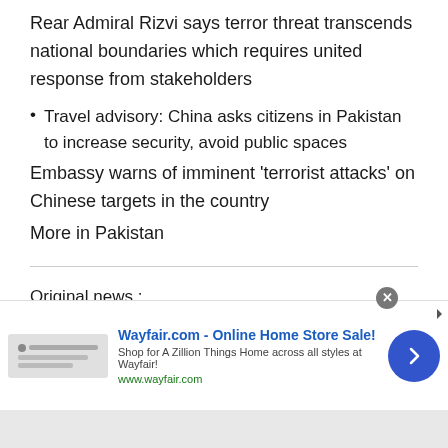Rear Admiral Rizvi says terror threat transcends national boundaries which requires united response from stakeholders
Travel advisory: China asks citizens in Pakistan to increase security, avoid public spaces
Embassy warns of imminent 'terrorist attacks' on Chinese targets in the country
More in Pakistan
Original news : https://tribune.com.pk/story/1598861/1-high-level-nsc-meeting-civil-military-leadership-underway/
[Figure (other): Wayfair.com advertisement banner - Online Home Store Sale! with close button and arrow navigation]